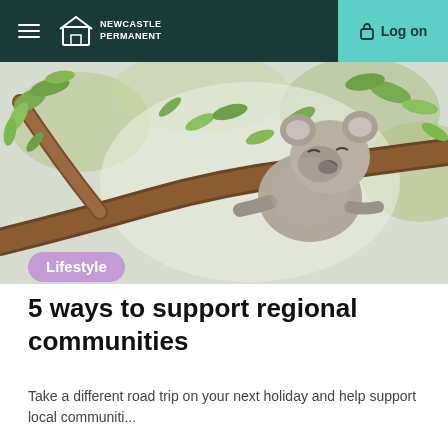Newcastle Permanent | Log on
[Figure (photo): A koala resting on a tree branch surrounded by eucalyptus leaves, photographed in natural light.]
Lifestyle
5 ways to support regional communities
Take a different road trip on your next holiday and help support local communiti...